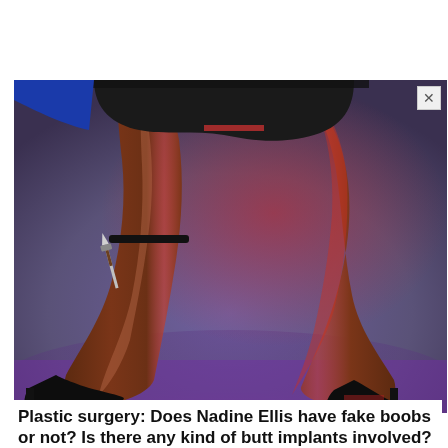[Figure (photo): A fashion/artistic photo showing the legs of a dark-skinned woman in black shorts and black high-heeled platform boots, posed dynamically against a gray/purple studio backdrop with red lighting accents. She appears to be holding a small dagger at her thigh.]
Plastic surgery: Does Nadine Ellis have fake boobs or not? Is there any kind of butt implants involved?